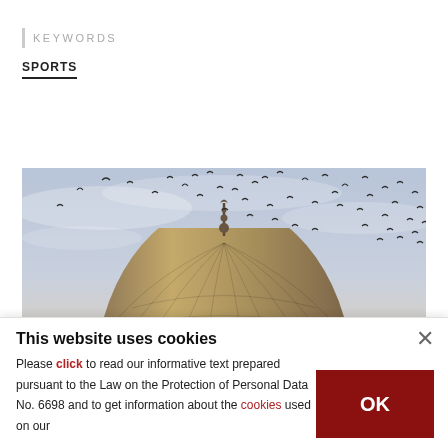KEYWORDS
SPORTS
[Figure (photo): Photograph of the top of a stone mosque dome with a decorative finial, with a large flock of birds flying in the overcast sky around the dome.]
This website uses cookies
Please click to read our informative text prepared pursuant to the Law on the Protection of Personal Data No. 6698 and to get information about the cookies used on our